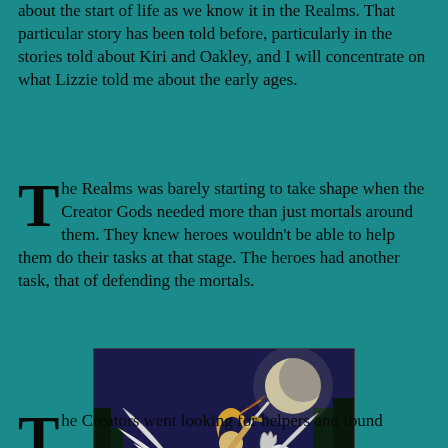about the start of life as we know it in the Realms. That particular story has been told before, particularly in the stories told about Kiri and Oakley, and I will concentrate on what Lizzie told me about the early ages.
The Realms was barely starting to take shape when the Creator Gods needed more than just mortals around them. They knew heroes wouldn't be able to help them do their tasks at that stage. The heroes had another task, that of defending the mortals.
[Figure (illustration): Fantasy illustration of a winged warrior woman riding a white unicorn/pegasus, raising a weapon, against a moonlit forest background]
The Creators went looking for helpers and found